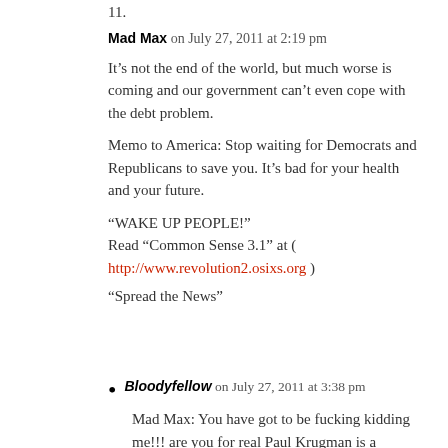11.
Mad Max on July 27, 2011 at 2:19 pm
It’s not the end of the world, but much worse is coming and our government can’t even cope with the debt problem.
Memo to America: Stop waiting for Democrats and Republicans to save you. It’s bad for your health and your future.
“WAKE UP PEOPLE!”
Read “Common Sense 3.1” at (
http://www.revolution2.osixs.org )
“Spread the News”
Bloodyfellow on July 27, 2011 at 3:38 pm
Mad Max: You have got to be fucking kidding me!!! are you for real Paul Krugman is a Socialist lump of shit!